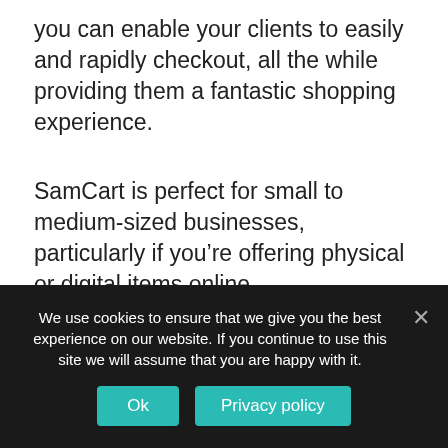you can enable your clients to easily and rapidly checkout, all the while providing them a fantastic shopping experience.
SamCart is perfect for small to medium-sized businesses, particularly if you’re offering physical or digital items online.
SamCart allows each service to sell a wide variety of items. It’s basic to upsell by means of this platform. It’s suitable to simplify the checkout experience for organization clients
We use cookies to ensure that we give you the best experience on our website. If you continue to use this site we will assume that you are happy with it.